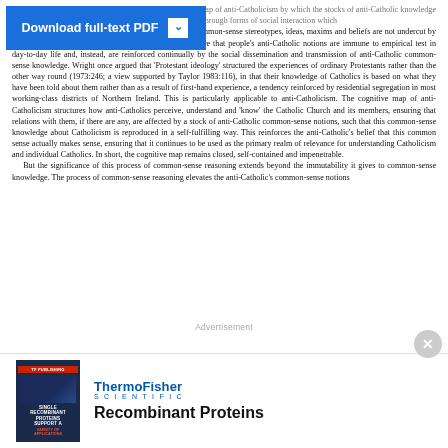ment and ensure. All these reinforce the closed cognitive map of anti-Catholicism by which the stocks of anti-Catholic knowledge are readily reproduced and disseminated to the uninitiated through forms of social interaction which prevent or restrict contact with Catholics, ensuring that common-sense stereotypes, ideas, maxims and beliefs are not undercut by personal experience. These artefacts and behaviours ensure that people's anti-Catholic notions are immune to empirical test in day-to-day life and, instead, are reinforced continually by the social dissemination and transmission of anti-Catholic common-sense knowledge. Wright once argued that 'Protestant ideology' structured the experiences of ordinary Protestants rather than the other way round (1973:246; a view supported by Taylor 1983:116), in that their knowledge of Catholics is based on what they have been told about them rather than as a result of first-hand experience, a tendency reinforced by residential segregation in most working-class districts of Northern Ireland. This is particularly applicable to anti-Catholicism. The cognitive map of anti-Catholicism structures how anti-Catholics perceive, understand and 'know' the Catholic Church and its members, ensuring that relations with them, if there are any, are affected by a stock of anti-Catholic common-sense notions, such that this common-sense knowledge about Catholicism is reproduced in a self-fulfilling way. This reinforces the anti-Catholic's belief that this common sense actually makes sense, ensuring that it continues to be used as the primary realm of relevance for understanding Catholicism and individual Catholics. In short, the cognitive map remains closed, self-contained and impenetrable.
    But the significance of this process of common-sense reasoning extends beyond the immutability it gives to common-sense knowledge. The process of common-sense reasoning elevates the anti-Catholic's common-sense notions
[Figure (other): Download full-text PDF button overlay (blue button with white text and dropdown arrow)]
Advertisement
[Figure (illustration): Thermo Fisher Scientific advertisement showing a book cover for 'Single Recombinant Proteins Support a Variety of Applications' with dark blue background and red title bar, alongside the Thermo Fisher Scientific logo and text 'Recombinant Proteins']